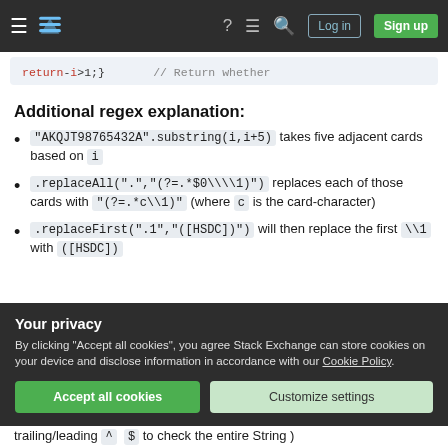Stack Exchange navigation bar with hamburger menu, logo, help, chat, search, Log in, Sign up
return-i>1;} // Return whether
Additional regex explanation:
"AKQJT98765432A".substring(i,i+5) takes five adjacent cards based on i
.replaceAll(".","(?=.*$0\\1)") replaces each of those cards with "(?=.*c\\1)" (where c is the card-character)
.replaceFirst(".1","([HSDC])") will then replace the first \\1 with ([HSDC])
Your privacy
By clicking "Accept all cookies", you agree Stack Exchange can store cookies on your device and disclose information in accordance with our Cookie Policy.
Accept all cookies   Customize settings
trailing/leading  ^  $  to check the entire String )